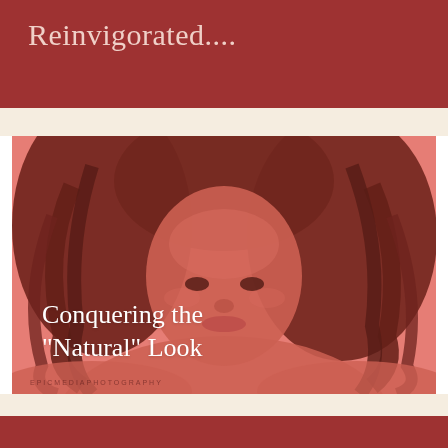Reinvigorated....
[Figure (photo): Portrait photo of a young Black woman with long curly hair, bare shoulders, looking at camera against a pink-red background. The image has a warm red/pink tonal overlay.]
Conquering the "Natural" Look
EPICMEDIAPHOTOGRAPHY